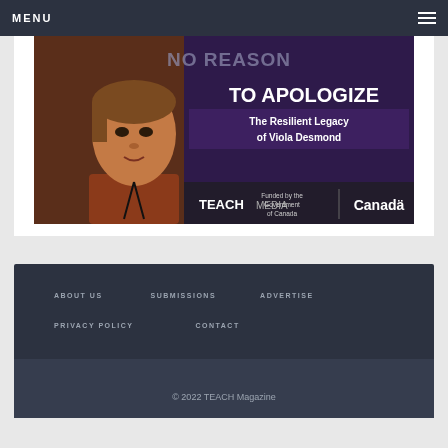MENU
[Figure (illustration): Advertisement banner for TEACH Media: 'NO REASON TO APOLOGIZE – The Resilient Legacy of Viola Desmond', funded by the Government of Canada. Features illustrated portrait of Viola Desmond on dark purple/maroon background.]
ABOUT US   SUBMISSIONS   ADVERTISE   PRIVACY POLICY   CONTACT   © 2022 TEACH Magazine